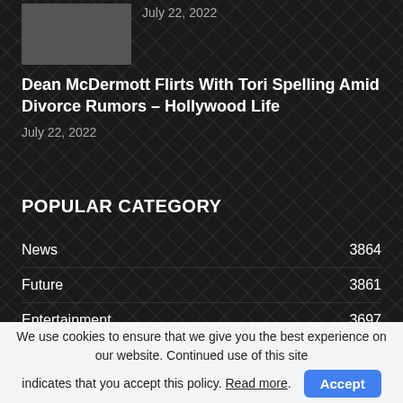July 22, 2022
Dean McDermott Flirts With Tori Spelling Amid Divorce Rumors – Hollywood Life
July 22, 2022
POPULAR CATEGORY
News  3864
Future  3861
Entertainment  3697
Life Style  3553
We use cookies to ensure that we give you the best experience on our website. Continued use of this site indicates that you accept this policy. Read more.